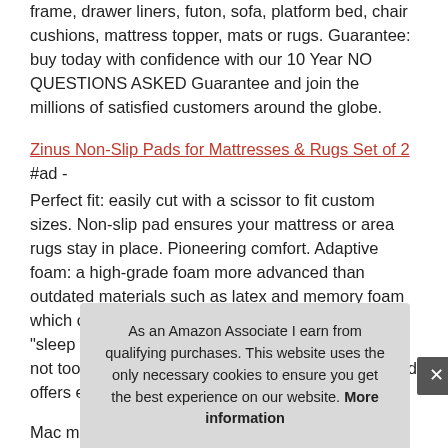frame, drawer liners, futon, sofa, platform bed, chair cushions, mattress topper, mats or rugs. Guarantee: buy today with confidence with our 10 Year NO QUESTIONS ASKED Guarantee and join the millions of satisfied customers around the globe.
Zinus Non-Slip Pads for Mattresses & Rugs Set of 2 #ad - Perfect fit: easily cut with a scissor to fit custom sizes. Non-slip pad ensures your mattress or area rugs stay in place. Pioneering comfort. Adaptive foam: a high-grade foam more advanced than outdated materials such as latex and memory foam which cause you to "sink in and feel stuck" and "sleep hot", the T&N adaptive foam sleeps cool, and not too hard", is just the right mix of "not too soft, and offers everything you nee
Mac... man... mattress and headquartered in Phoenix, AZ, Tuft & Needle is
As an Amazon Associate I earn from qualifying purchases. This website uses the only necessary cookies to ensure you get the best experience on our website. More information